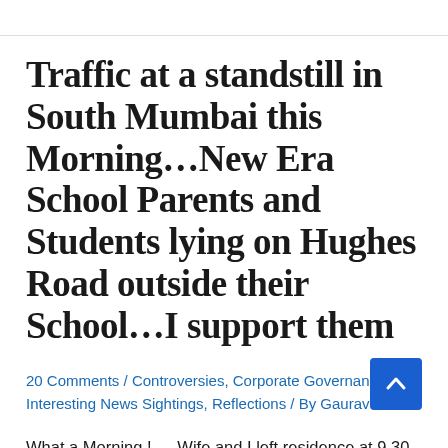Traffic at a standstill in South Mumbai this Morning…New Era School Parents and Students lying on Hughes Road outside their School…I support them
20 Comments / Controversies, Corporate Governance, Interesting News Sightings, Reflections / By Gaurav Parikh
What a Morning !…. Wife and I left residence at 9.30 am to go to Siddhi Vinayak Temple and St Anthony